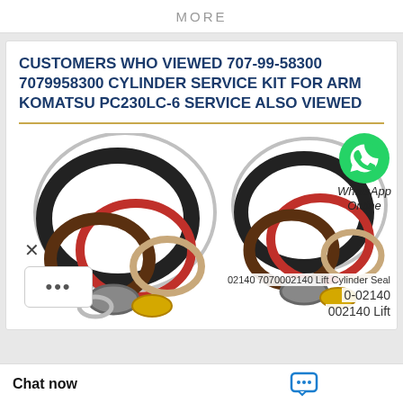MORE
CUSTOMERS WHO VIEWED 707-99-58300 7079958300 CYLINDER SERVICE KIT FOR ARM KOMATSU PC230LC-6 SERVICE ALSO VIEWED
[Figure (photo): Product photo showing two sets of hydraulic cylinder seal rings/kits with various colored O-rings and seals arranged on white background. A WhatsApp icon and 'WhatsApp Online' text overlay appears in upper right. An X button and a '...' dialog box overlay appear on the lower left.]
02140 7070002140 Lift Cylinder Seal
0-02140
002140 Lift
Chat now